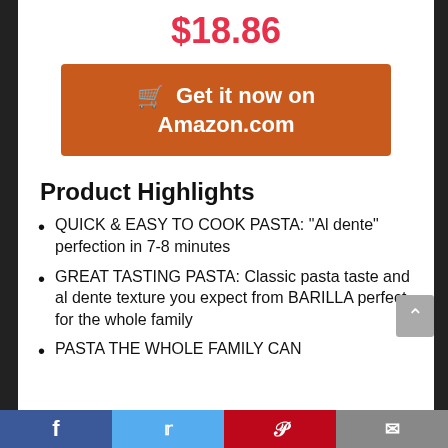$18.86
[Figure (other): Orange Amazon 'Get it now on Amazon.com' button with shopping cart icon]
Product Highlights
QUICK & EASY TO COOK PASTA: “Al dente” perfection in 7-8 minutes
GREAT TASTING PASTA: Classic pasta taste and al dente texture you expect from BARILLA perfect for the whole family
PASTA THE WHOLE FAMILY CAN
Facebook | Twitter | Pinterest | Email